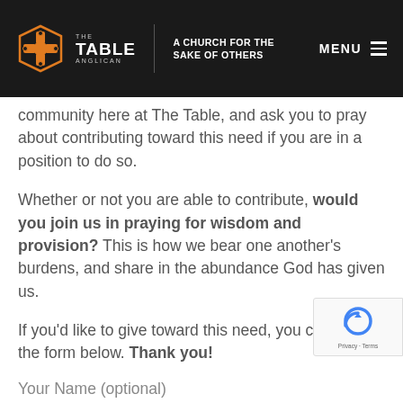THE TABLE ANGLICAN | A CHURCH FOR THE SAKE OF OTHERS | MENU
community here at The Table, and ask you to pray about contributing toward this need if you are in a position to do so.
Whether or not you are able to contribute, would you join us in praying for wisdom and provision? This is how we bear one another’s burdens, and share in the abundance God has given us.
If you’d like to give toward this need, you can fill out the form below. Thank you!
Your Name (optional)